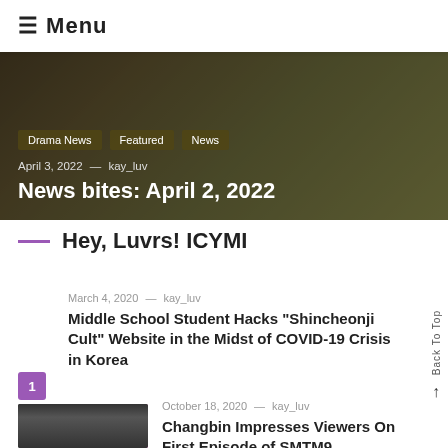≡ Menu
[Figure (photo): Hero image with dark background showing drama/entertainment scene with tags Drama News, Featured, News. Date April 3, 2022 — kay_luv. Title: News bites: April 2, 2022]
Hey, Luvrs! ICYMI
March 4, 2020 — kay_luv
Middle School Student Hacks "Shincheonji Cult" Website in the Midst of COVID-19 Crisis in Korea
October 18, 2020 — kay_luv
Changbin Impresses Viewers On First Episode of SMTM9